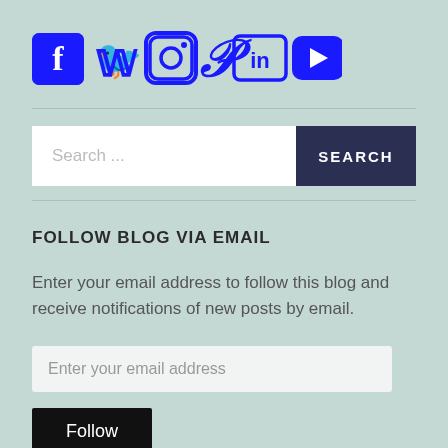[Figure (illustration): Social media icons row: Facebook, Twitter, Instagram, Pinterest, LinkedIn, YouTube, Google+ in blue]
Search ...
SEARCH
FOLLOW BLOG VIA EMAIL
Enter your email address to follow this blog and receive notifications of new posts by email.
Enter your email address
Follow